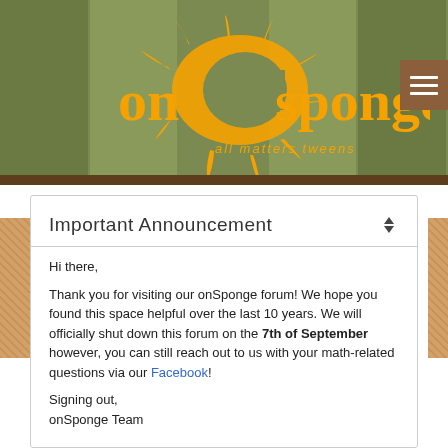[Figure (logo): onSponge logo with orange splash/splatter graphic, orange bold text 'onSponge' and italic subtitle 'all matters tweens' on a green striped background header]
Important Announcement
Hi there,
Thank you for visiting our onSponge forum! We hope you found this space helpful over the last 10 years. We will officially shut down this forum on the 7th of September however, you can still reach out to us with your math-related questions via our Facebook!
Signing out,
onSponge Team